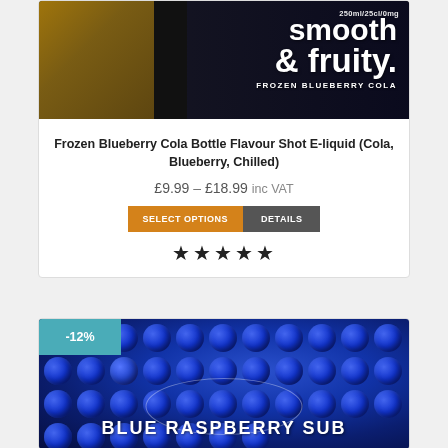[Figure (photo): Product image of Frozen Blueberry Cola bottle with text 'smooth & fruity. FROZEN BLUEBERRY COLA' and '250ml/25cl/0mg']
Frozen Blueberry Cola Bottle Flavour Shot E-liquid (Cola, Blueberry, Chilled)
£9.99 – £18.99 inc VAT
SELECT OPTIONS   DETAILS
★★★★★
[Figure (photo): Product image of Blue Raspberry Sub with background of blue raspberries and text 'BLUE RASPBERRY SUB']
-12%